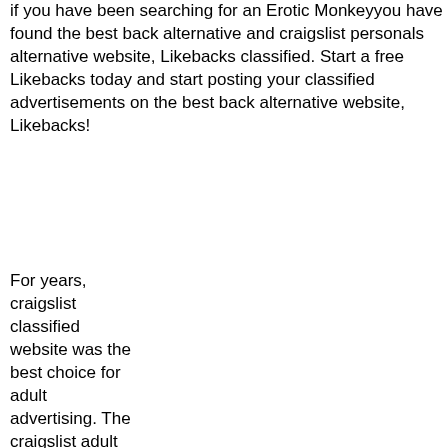if you have been searching for an Erotic Monkeyyou have found the best back alternative and craigslist personals alternative website, Likebacks classified. Start a free Likebacks today and start posting your classified advertisements on the best back alternative website, Likebacks!
For years, craigslist classified website was the best choice for adult advertising. The craigslist adult services section far outpaced all other sites for getting escorts and adult service providerscalls and now clients. In craigslist shut down its